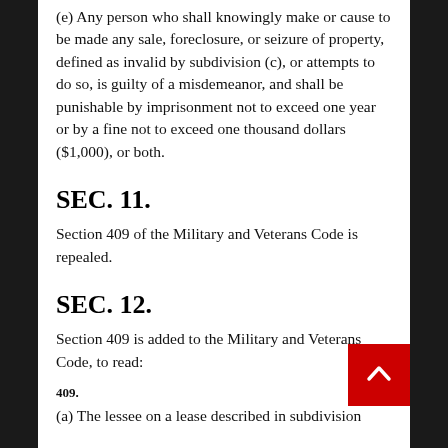(e) Any person who shall knowingly make or cause to be made any sale, foreclosure, or seizure of property, defined as invalid by subdivision (c), or attempts to do so, is guilty of a misdemeanor, and shall be punishable by imprisonment not to exceed one year or by a fine not to exceed one thousand dollars ($1,000), or both.
SEC. 11.
Section 409 of the Military and Veterans Code is repealed.
SEC. 12.
Section 409 is added to the Military and Veterans Code, to read:
409.
(a) The lessee on a lease described in subdivision